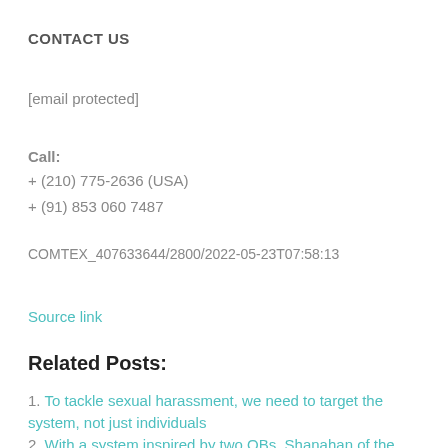CONTACT US
[email protected]
Call:
+ (210) 775-2636 (USA)
+ (91) 853 060 7487
COMTEX_407633644/2800/2022-05-23T07:58:13
Source link
Related Posts:
To tackle sexual harassment, we need to target the system, not just individuals
With a system inspired by two QBs, Shanahan of the